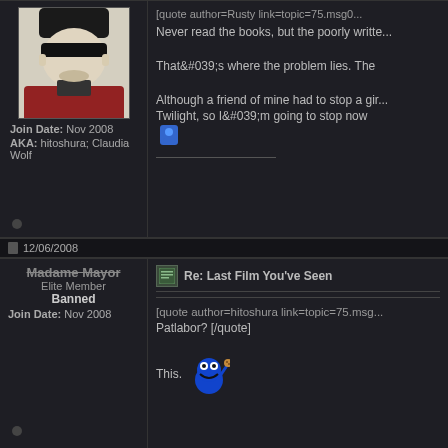[Figure (photo): Forum avatar showing illustrated character with sunglasses and red jacket]
Join Date: Nov 2008
AKA: hitoshura; Claudia Wolf
[quote author=Rusty link=topic=75.msg0... Never read the books, but the poorly writte... That&#039;s where the problem lies. The ...
Although a friend of mine had to stop a gir... Twilight, so I&#039;m going to stop now
12/06/2008
Madame Mayor
Elite Member
Banned
Join Date: Nov 2008
Re: Last Film You've Seen
[quote author=hitoshura link=topic=75.msg... Patlabor? [/quote]
This.
12/22/2008
firehahahahahahaha
Senior Member
fire master
Join Date: Dec 2008
Re: Last Film You've Seen
[font=comic sans ms][color=gray]The Magn...